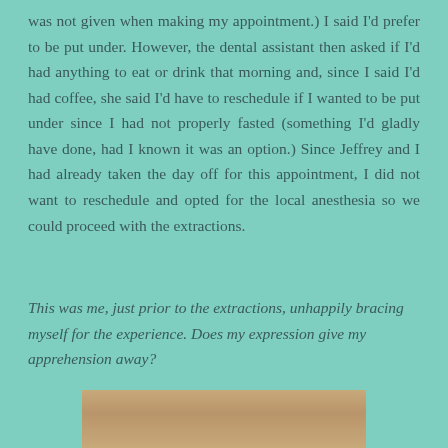was not given when making my appointment.) I said I'd prefer to be put under. However, the dental assistant then asked if I'd had anything to eat or drink that morning and, since I said I'd had coffee, she said I'd have to reschedule if I wanted to be put under since I had not properly fasted (something I'd gladly have done, had I known it was an option.) Since Jeffrey and I had already taken the day off for this appointment, I did not want to reschedule and opted for the local anesthesia so we could proceed with the extractions.
This was me, just prior to the extractions, unhappily bracing myself for the experience. Does my expression give my apprehension away?
[Figure (photo): Photo of a person's face from forehead down, taken just prior to dental extractions, showing an apprehensive expression]